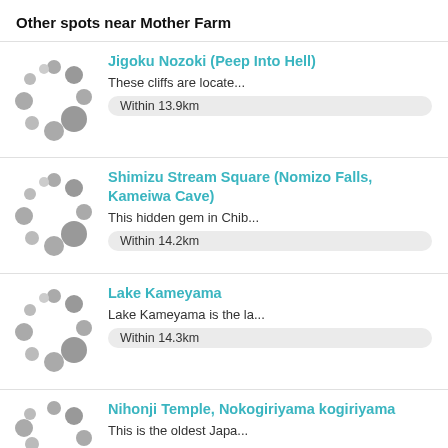Other spots near Mother Farm
Jigoku Nozoki (Peep Into Hell)
These cliffs are locate...
Within 13.9km
Shimizu Stream Square (Nomizo Falls, Kameiwa Cave)
This hidden gem in Chib...
Within 14.2km
Lake Kameyama
Lake Kameyama is the la...
Within 14.3km
Nihonji Temple, Nokogiriyama kogiriyama
This is the oldest Japa...